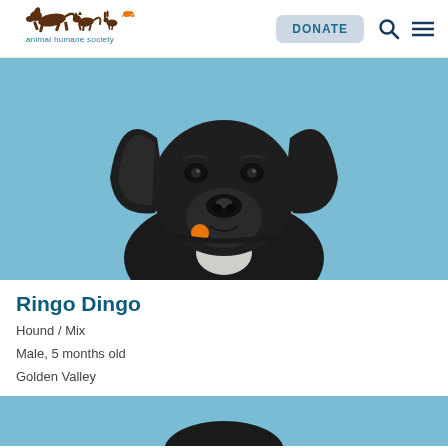[Figure (logo): Animal Humane Society logo with silhouettes of running animals (dog, cat, rabbit, bird) in brown and orange, with text 'animal humane society' below]
[Figure (photo): Close-up photograph of a black dog (Ringo Dingo) with large ears and a small orange tag on collar, photographed against a light blue background. The dog appears to be smiling.]
Ringo Dingo
Hound / Mix
Male, 5 months old
Golden Valley
[Figure (photo): Bottom portion of another animal photo with blue background, partially visible at the bottom of the page]